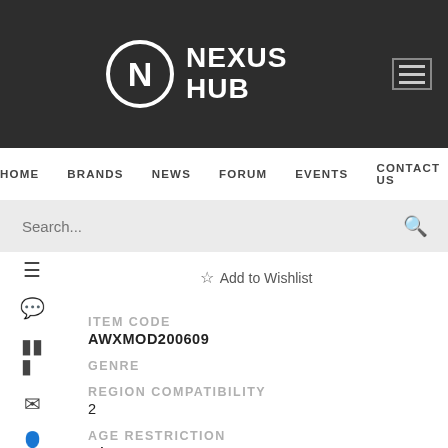[Figure (logo): Nexus Hub logo — circular N icon and NEXUS HUB text in white on dark background]
HOME  BRANDS  NEWS  FORUM  EVENTS  CONTACT US
Search...
☆ Add to Wishlist
ITEM CODE
AWXMOD200609
GENRE
REGION COMPATIBILITY
2
AGE RESTRICTION
N/A